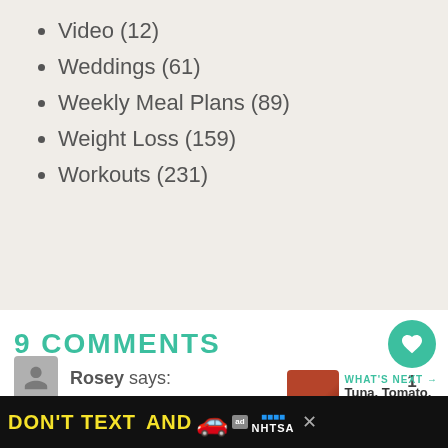Video (12)
Weddings (61)
Weekly Meal Plans (89)
Weight Loss (159)
Workouts (231)
9 COMMENTS
[Figure (other): Heart/like button (green circle with heart icon) with count of 1, and share button below]
[Figure (other): What's Next promo box with food image thumbnail and text 'Tuna, Tomato, and Chile...']
[Figure (other): User avatar placeholder (grey square with person silhouette)]
Rosey says:
[Figure (other): Advertisement banner: DON'T TEXT AND [car emoji] with NHTSA logo and ad badge]
Yes... for the